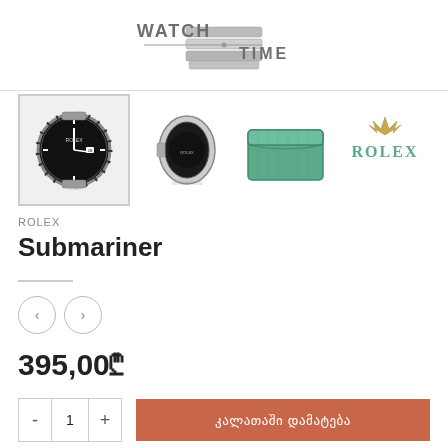[Figure (logo): Watch Time store logo with text WATCH TIME and metallic clasp image]
[Figure (photo): Four product images: main Rolex Submariner watch front view, side view of watch, green Rolex box, and Rolex text logo with crown]
ROLEX
Submariner
395,00₾
კალათაში დამატება